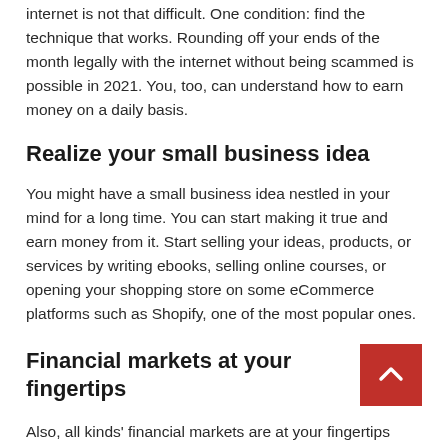internet is not that difficult. One condition: find the technique that works. Rounding off your ends of the month legally with the internet without being scammed is possible in 2021. You, too, can understand how to earn money on a daily basis.
Realize your small business idea
You might have a small business idea nestled in your mind for a long time. You can start making it true and earn money from it. Start selling your ideas, products, or services by writing ebooks, selling online courses, or opening your shopping store on some eCommerce platforms such as Shopify, one of the most popular ones.
Financial markets at your fingertips
Also, all kinds' financial markets are at your fingertips thanks to the internet and many trading platforms. Making